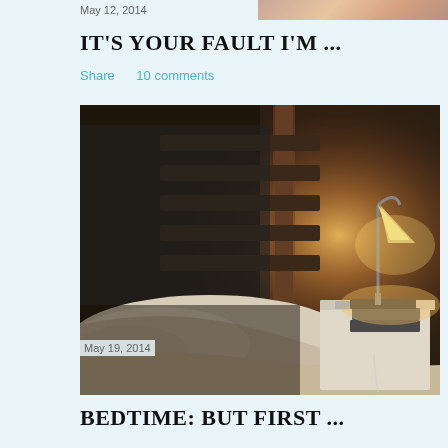May 12, 2014
[Figure (photo): Partial cropped photo visible at top right corner]
IT'S YOUR FAULT I'M ...
Share   10 comments
[Figure (photo): Bedroom photo showing a bed with white sheets/pillows, a wooden headboard, and a glowing bedside lamp on a nightstand with books]
May 19, 2014
BEDTIME: BUT FIRST ...